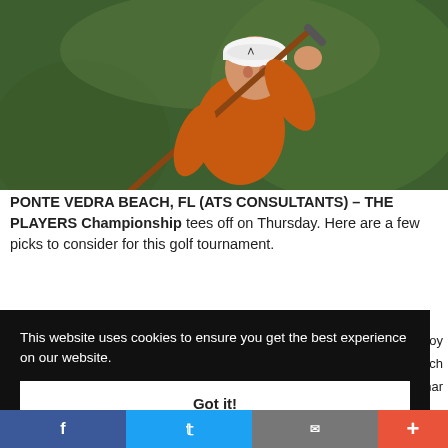[Figure (photo): Golfer in orange Under Armour shirt and white cap mid-swing with golf club against green background]
PONTE VEDRA BEACH, FL (ATS CONSULTANTS) – THE PLAYERS Championship tees off on Thursday. Here are a few picks to consider for this golf tournament.
This website uses cookies to ensure you get the best experience on our website.
Got it!